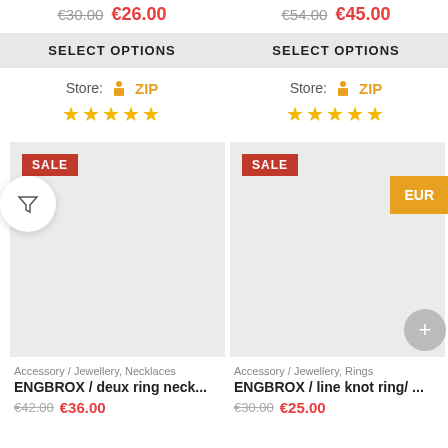€30.00  €26.00
SELECT OPTIONS
Store: ZIP ★★★★★
€54.00  €45.00
SELECT OPTIONS
Store: ZIP ★★★★★
SALE
Accessory / Jewellery, Necklaces
ENGBROX / deux ring neck...
€42.00  €36.00
SALE
Accessory / Jewellery, Rings
ENGBROX / line knot ring/ ...
€30.00  €25.00
EUR